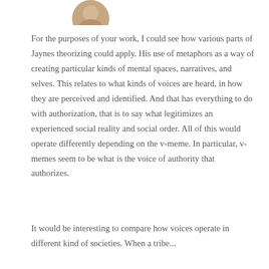[Figure (photo): Partial circular avatar photo of a person at the top of the page]
For the purposes of your work, I could see how various parts of Jaynes theorizing could apply. His use of metaphors as a way of creating particular kinds of mental spaces, narratives, and selves. This relates to what kinds of voices are heard, in how they are perceived and identified. And that has everything to do with authorization, that is to say what legitimizes an experienced social reality and social order. All of this would operate differently depending on the v-meme. In particular, v-memes seem to be what is the voice of authority that authorizes.
It would be interesting to compare how voices operate in different kind of societies. When a tribe...